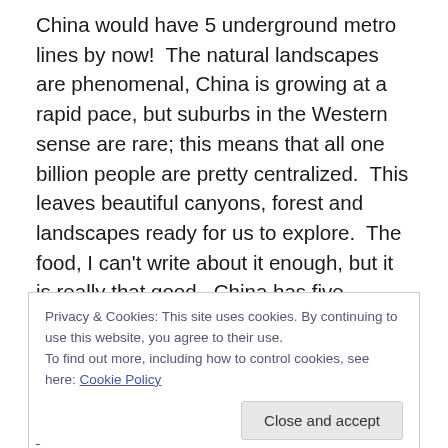China would have 5 underground metro lines by now!  The natural landscapes are phenomenal, China is growing at a rapid pace, but suburbs in the Western sense are rare; this means that all one billion people are pretty centralized.  This leaves beautiful canyons, forest and landscapes ready for us to explore.  The food, I can't write about it enough, but it is really that good.  China has five thousand years of history and the last fifty years is a minor blip in a long history of culture and tradition.  There is so much to explore and enjoy; we have only seen a fraction of it.
Privacy & Cookies: This site uses cookies. By continuing to use this website, you agree to their use.
To find out more, including how to control cookies, see here: Cookie Policy
[Close and accept]
...